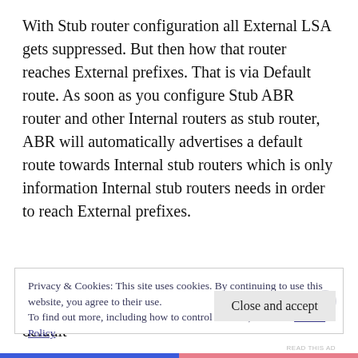With Stub router configuration all External LSA gets suppressed. But then how that router reaches External prefixes. That is via Default route. As soon as you configure Stub ABR router and other Internal routers as stub router, ABR will automatically advertises a default route towards Internal stub routers which is only information Internal stub routers needs in order to reach External prefixes.
Now in Stub routing, routers will still have Type 3 Summary LSAs, Type 1 Router LSA and default
Privacy & Cookies: This site uses cookies. By continuing to use this website, you agree to their use.
To find out more, including how to control cookies, see here: Cookie Policy